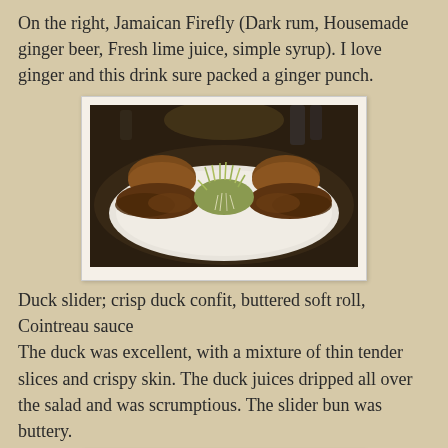On the right, Jamaican Firefly (Dark rum, Housemade ginger beer, Fresh lime juice, simple syrup). I love ginger and this drink sure packed a ginger punch.
[Figure (photo): A white plate with two duck sliders (crispy duck confit on buttered soft rolls) arranged with a garnish of frisée salad in the center, photographed in dim restaurant lighting.]
Duck slider; crisp duck confit, buttered soft roll, Cointreau sauce
The duck was excellent, with a mixture of thin tender slices and crispy skin. The duck juices dripped all over the salad and was scrumptious. The slider bun was buttery.
[Figure (photo): Partial view of another dish photographed in dim restaurant lighting, bottom of page.]